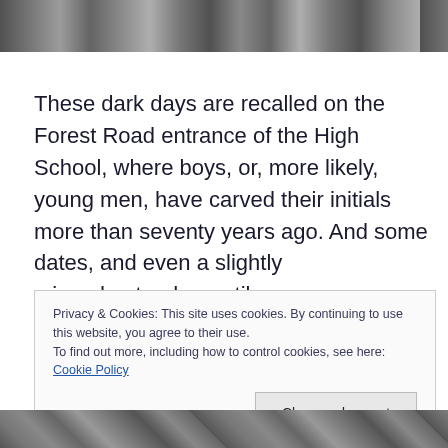[Figure (photo): Black and white photograph, partial view at top of page]
These dark days are recalled on the Forest Road entrance of the High School, where boys, or, more likely, young men, have carved their initials more than seventy years ago. And some dates, and even a slightly misunderstood swastika.
Privacy & Cookies: This site uses cookies. By continuing to use this website, you agree to their use. To find out more, including how to control cookies, see here: Cookie Policy Close and accept
[Figure (photo): Colour photograph, partial view at bottom of page]